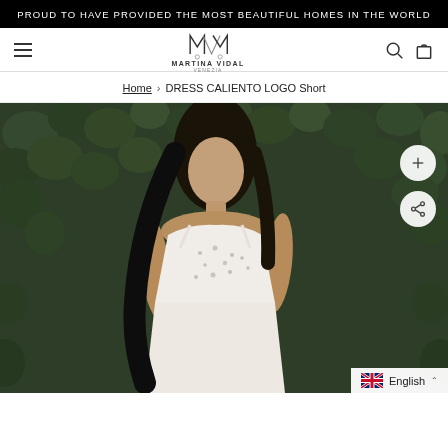PROUD TO HAVE PROVIDED THE MOST BEAUTIFUL HOMES IN THE WORLD
[Figure (logo): Martina Vidal Venezia brand logo with stylized M letters and brand name]
Home › DRESS CALIENTO LOGO Short
[Figure (photo): Fashion model wearing a white embellished spaghetti-strap mini dress, standing in front of a dark green ivy wall background. Model has long dark hair and poses with one hand on hip.]
English